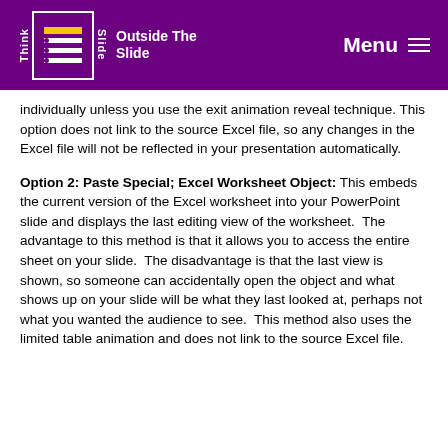Outside The Slide — Think Outside The Slide — Menu
individually unless you use the exit animation reveal technique. This option does not link to the source Excel file, so any changes in the Excel file will not be reflected in your presentation automatically.
Option 2: Paste Special; Excel Worksheet Object: This embeds the current version of the Excel worksheet into your PowerPoint slide and displays the last editing view of the worksheet. The advantage to this method is that it allows you to access the entire sheet on your slide. The disadvantage is that the last view is shown, so someone can accidentally open the object and what shows up on your slide will be what they last looked at, perhaps not what you wanted the audience to see. This method also uses the limited table animation and does not link to the source Excel file.